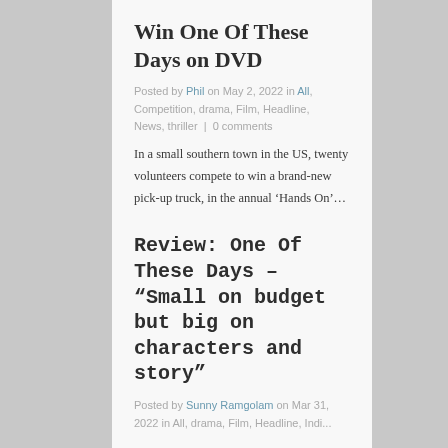Win One Of These Days on DVD
Posted by Phil on May 2, 2022 in All, Competition, drama, Film, Headline, News, thriller | 0 comments
In a small southern town in the US, twenty volunteers compete to win a brand-new pick-up truck, in the annual ‘Hands On’…
Review: One Of These Days – “Small on budget but big on characters and story”
Posted by Sunny Ramgolam on Mar 31, 2022 in All, drama, Film, Headline, Indi...